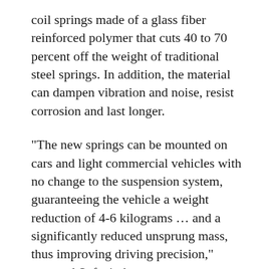coil springs made of a glass fiber reinforced polymer that cuts 40 to 70 percent off the weight of traditional steel springs. In addition, the material can dampen vibration and noise, resist corrosion and last longer.
"The new springs can be mounted on cars and light commercial vehicles with no change to the suspension system, guaranteeing the vehicle a weight reduction of 4-6 kilograms … and a significantly reduced unsprung mass, thus improving driving precision," reported Sofegi, the auto component specialist that owns the patent for the new springs.
By reducing the overall weight, these springs can also improve the vehicle's performance and help automakers align with the stricter EPA fuel-